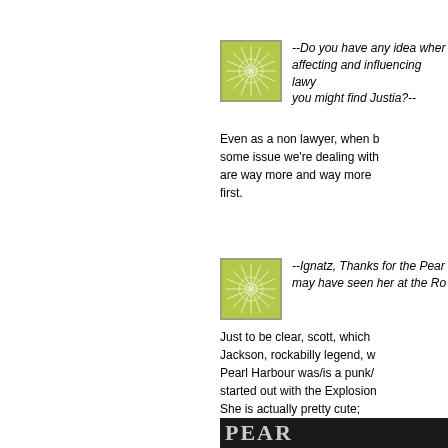[Figure (illustration): Green decorative square icon with starburst pattern, first instance]
--Do you have any idea where affecting and influencing lawy you might find Justia?--
Even as a non lawyer, when h some issue we're dealing with are way more and way more first.
[Figure (illustration): Green decorative square icon with starburst pattern, second instance]
--Ignatz, Thanks for the Pear may have seen her at the Ro
Just to be clear, scott, which Jackson, rockabilly legend, w Pearl Harbour was/is a punk/ started out with the Explosion She is actually pretty cute;
[Figure (photo): Dark banner image with text PEAR in large silver letters]